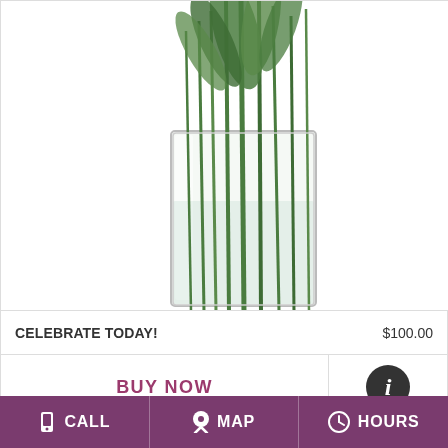[Figure (photo): Green stems in a clear square glass vase with water, plant leaves visible at the top]
CELEBRATE TODAY!     $100.00
BUY NOW
[Figure (photo): Flower basket with pink gerberas, tulips, and white small flowers with a wooden handle]
CALL   MAP   HOURS